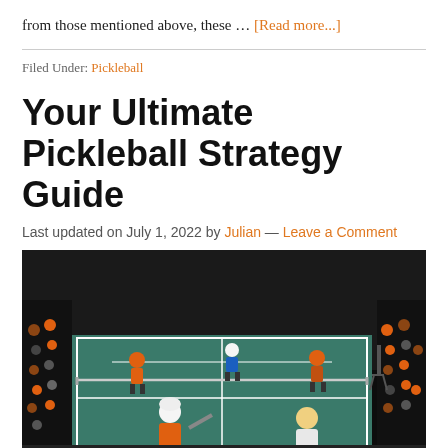from those mentioned above, these … [Read more...]
Filed Under: Pickleball
Your Ultimate Pickleball Strategy Guide
Last updated on July 1, 2022 by Julian — Leave a Comment
[Figure (photo): Indoor pickleball court with four players mid-game, spectators seated around the court, dark background, overhead lighting illuminating a teal court.]